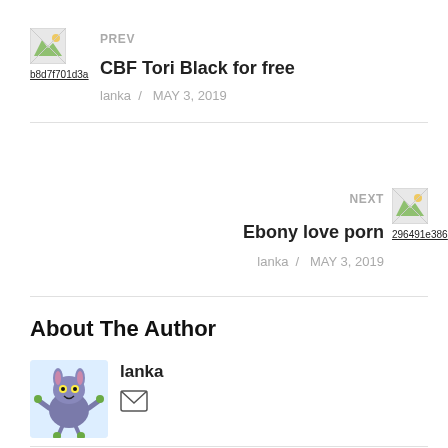[Figure (other): Broken image thumbnail for previous post (b8d7f701d3a)]
PREV
CBF Tori Black for free
lanka  /  MAY 3, 2019
NEXT
[Figure (other): Broken image thumbnail for next post (296491e386)]
Ebony love porn
lanka  /  MAY 3, 2019
About The Author
[Figure (illustration): Cartoon rabbit/monster avatar for author lanka]
lanka
[Figure (other): Email envelope icon]